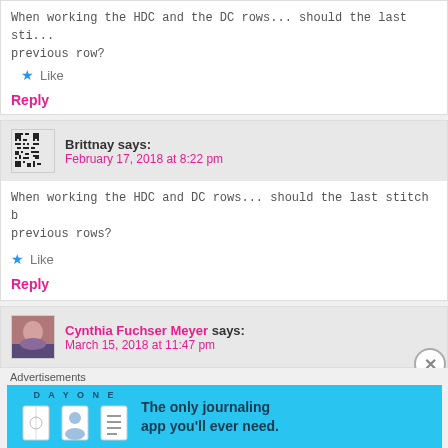When working the HDC and the DC rows... should the last stitch be worked into the previous row?
Like
Reply
Brittnay says:
February 17, 2018 at 8:22 pm
When working the HDC and DC rows... should the last stitch b... previous rows?
Like
Reply
Cynthia Fuchser Meyer says:
March 15, 2018 at 11:47 pm
Advertisements
[Figure (infographic): Day One journaling app advertisement banner with cyan background, icons and tagline 'The only journaling app you'll ever need.']